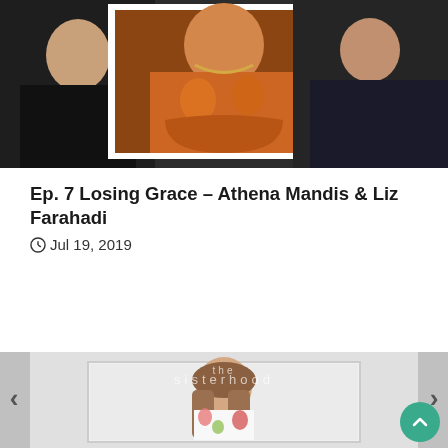[Figure (photo): Top photo showing three people, with the center person in a decorative frame with white border, wearing ornate colorful clothing. Left and right persons dressed in dark clothing.]
Ep. 7 Losing Grace – Athena Mandis & Liz Farahadi
Jul 19, 2019
[Figure (photo): Bottom photo carousel showing a woman with long brown hair wearing a white floral dress, standing in front of a white background. Navigation arrows on left and right sides. 'the sisterhood' watermark visible.]